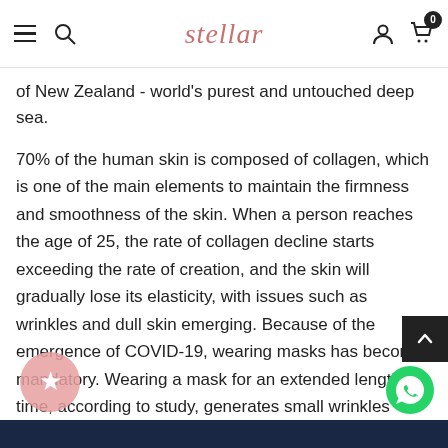stellar — navigation bar with menu, search, logo, account, cart (0)
of New Zealand - world's purest and untouched deep sea.
70% of the human skin is composed of collagen, which is one of the main elements to maintain the firmness and smoothness of the skin. When a person reaches the age of 25, the rate of collagen decline starts exceeding the rate of creation, and the skin will gradually lose its elasticity, with issues such as wrinkles and dull skin emerging. Because of the emergence of COVID-19, wearing masks has become mandatory. Wearing a mask for an extended length of time, according to study, generates small wrinkles around our fac